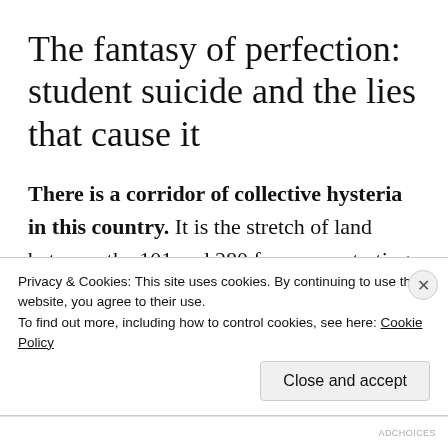The fantasy of perfection: student suicide and the lies that cause it
There is a corridor of collective hysteria in this country. It is the stretch of land between the 101 and 280 freeways, starting in San Francisco and moving south, eventually ending when the latter turns into 680...
Privacy & Cookies: This site uses cookies. By continuing to use this website, you agree to their use.
To find out more, including how to control cookies, see here: Cookie Policy